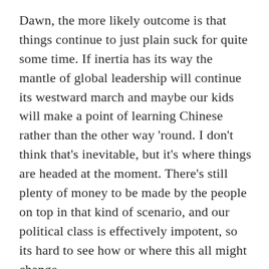Dawn, the more likely outcome is that things continue to just plain suck for quite some time. If inertia has its way the mantle of global leadership will continue its westward march and maybe our kids will make a point of learning Chinese rather than the other way 'round. I don't think that's inevitable, but it's where things are headed at the moment. There's still plenty of money to be made by the people on top in that kind of scenario, and our political class is effectively impotent, so its hard to see how or where this all might change.
Not an upbeat moment to end on, but as I said, "I preach a dark future."